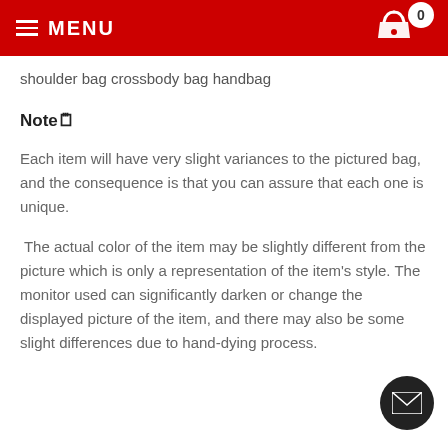MENU  0
shoulder bag crossbody bag handbag
Note🗒
Each item will have very slight variances to the pictured bag, and the consequence is that you can assure that each one is unique.
The actual color of the item may be slightly different from the picture which is only a representation of the item's style. The monitor used can significantly darken or change the displayed picture of the item, and there may also be some slight differences due to hand-dying process.